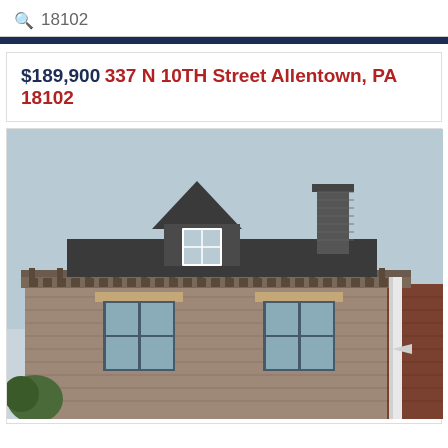18102
$189,900 337 N 10TH Street Allentown, PA 18102
[Figure (photo): Exterior photo of a historic brick building at 337 N 10TH Street Allentown PA 18102, showing the upper facade with two windows on the second floor, decorative cornice with ornamental brackets, a dormer window at the roofline, and a chimney to the right.]